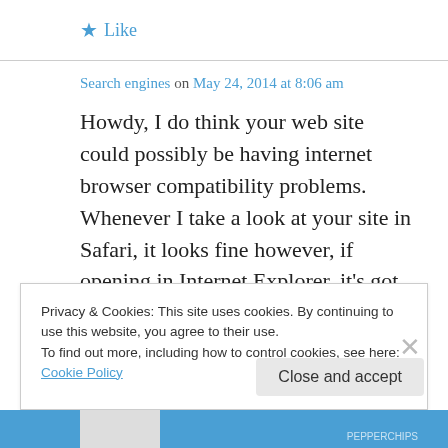★ Like
Search engines on May 24, 2014 at 8:06 am
Howdy, I do think your web site could possibly be having internet browser compatibility problems.
Whenever I take a look at your site in Safari, it looks fine however, if opening in Internet Explorer, it's got some
Privacy & Cookies: This site uses cookies. By continuing to use this website, you agree to their use.
To find out more, including how to control cookies, see here: Cookie Policy
Close and accept